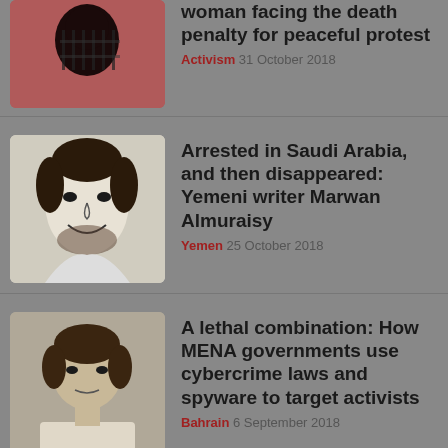[Figure (illustration): Partial top article thumbnail: dark red/mauve background with illustrated figure of a person behind bars, black silhouette style]
woman facing the death penalty for peaceful protest
Activism  31 October 2018
[Figure (illustration): Sketch portrait of a smiling bearded man, Marwan Almuraisy, pencil/ink drawing style on light background]
Arrested in Saudi Arabia, and then disappeared: Yemeni writer Marwan Almuraisy
Yemen  25 October 2018
[Figure (photo): Photograph of a young person with curly hair, slightly blurred, muted tones]
A lethal combination: How MENA governments use cybercrime laws and spyware to target activists
Bahrain  6 September 2018
[Figure (photo): Partial black rectangle thumbnail at bottom of page for Saudi Arabia article]
Saudi Arabia Eases Restrictions